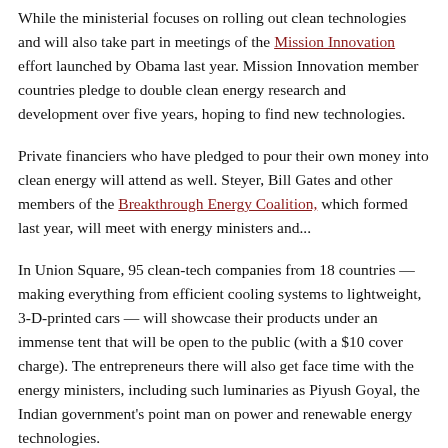While the ministerial focuses on rolling out clean technologies and will also take part in meetings of the Mission Innovation effort launched by Obama last year. Mission Innovation member countries pledge to double clean energy research and development over five years, hoping to find new technologies.
Private financiers who have pledged to pour their own money into clean energy will attend as well. Steyer, Bill Gates and other members of the Breakthrough Energy Coalition, which formed last year, will meet with energy ministers and...
In Union Square, 95 clean-tech companies from 18 countries — making everything from efficient cooling systems to lightweight, 3-D-printed cars — will showcase their products under an immense tent that will be open to the public (with a $10 cover charge). The entrepreneurs there will also get face time with the energy ministers, including such luminaries as Piyush Goyal, the Indian government's point man on power and renewable energy technologies.
“This is a big deal,” said Danny Kennedy, managing director of the...